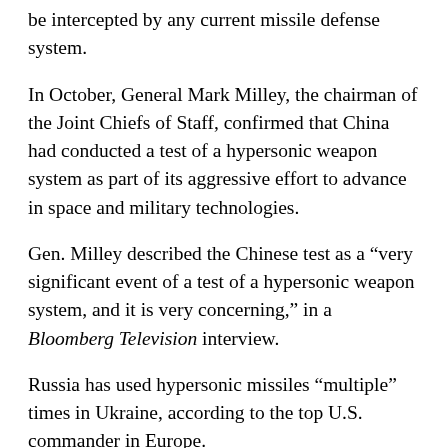be intercepted by any current missile defense system.
In October, General Mark Milley, the chairman of the Joint Chiefs of Staff, confirmed that China had conducted a test of a hypersonic weapon system as part of its aggressive effort to advance in space and military technologies.
Gen. Milley described the Chinese test as a “very significant event of a test of a hypersonic weapon system, and it is very concerning,” in a Bloomberg Television interview.
Russia has used hypersonic missiles “multiple” times in Ukraine, according to the top U.S. commander in Europe.
Last fall, as U.S. intelligence officials had become increasingly concerned about the massing of Russian forces on the Ukraine border, Russian President Vladimir Putin urged the country’s arms manufacturers to develop even